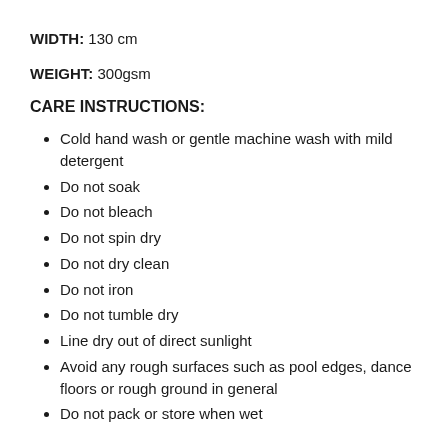WIDTH: 130 cm
WEIGHT: 300gsm
CARE INSTRUCTIONS:
Cold hand wash or gentle machine wash with mild detergent
Do not soak
Do not bleach
Do not spin dry
Do not dry clean
Do not iron
Do not tumble dry
Line dry out of direct sunlight
Avoid any rough surfaces such as pool edges, dance floors or rough ground in general
Do not pack or store when wet